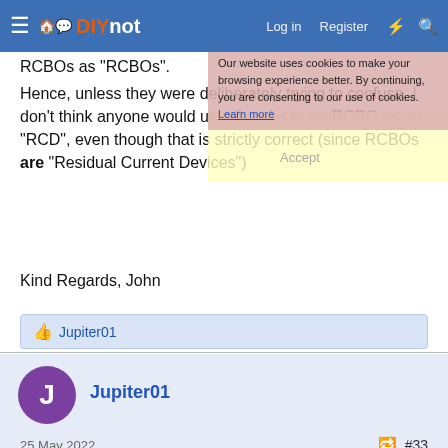DIYnot — Log in | Register
RCBOs as "RCBOs".
Our website uses cookies to make your browsing experience better. By continuing, you are consenting to our use of cookies. Learn more
Accept
Hence, unless they were deliberately trying to confuse, I don't think anyone would usually refer to an RCBO as an "RCD", even though that is strictly correct (since RCBOs are "Residual Current Devices")
Kind Regards, John
👍 Jupiter01
Jupiter01
25 May 2022  #33
Taylortwocities said:
If it disconnects the line and neutral of the incoming supply then it is